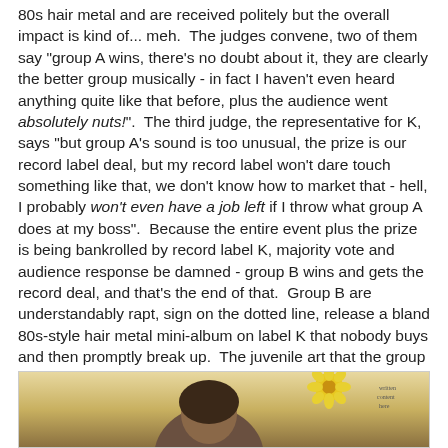80s hair metal and are received politely but the overall impact is kind of... meh. The judges convene, two of them say "group A wins, there's no doubt about it, they are clearly the better group musically - in fact I haven't even heard anything quite like that before, plus the audience went absolutely nuts!". The third judge, the representative for K, says "but group A's sound is too unusual, the prize is our record label deal, but my record label won't dare touch something like that, we don't know how to market that - hell, I probably won't even have a job left if I throw what group A does at my boss". Because the entire event plus the prize is being bankrolled by record label K, majority vote and audience response be damned - group B wins and gets the record deal, and that's the end of that. Group B are understandably rapt, sign on the dotted line, release a bland 80s-style hair metal mini-album on label K that nobody buys and then promptly break up. The juvenile art that the group chose for the cover - a crude picture of some winged devil-girl or whatever with her tits out that was probably drawn by one of the band's friends - probably didn't help!
[Figure (photo): A partial photo showing what appears to be a person with a yellow flower or sunflower, with a tan/brown background, partially cut off at the bottom of the page.]